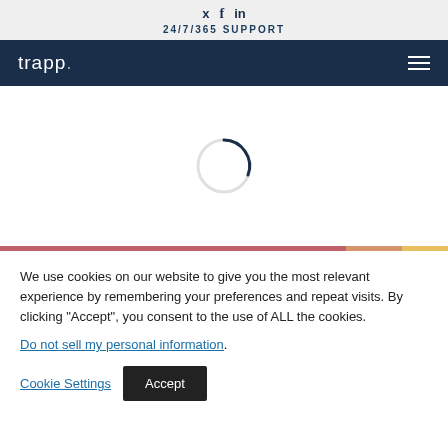24/7/365 SUPPORT
[Figure (logo): Trapp logo and navigation bar with hamburger menu]
[Figure (other): Loading spinner / progress indicator circle]
[Figure (infographic): Horizontal progress bar with rose, orange, and gold segments]
We use cookies on our website to give you the most relevant experience by remembering your preferences and repeat visits. By clicking "Accept", you consent to the use of ALL the cookies.
Do not sell my personal information.
Cookie Settings Accept